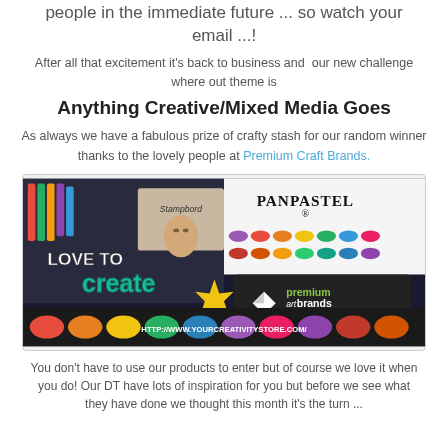people in the immediate future ... so watch your email ...!
After all that excitement it's back to business and our new challenge where out theme is
Anything Creative/Mixed Media Goes
As always we have a fabulous prize of crafty stash for our random winner thanks to the lovely people at Premium Craft Brands.
[Figure (illustration): Banner advertisement for Premium Art Brands / PanPastel / Love to Create with yourcreativitystore.com URL]
You don't have to use our products to enter but of course we love it when you do! Our DT have lots of inspiration for you but before we see what they have done we thought this month it's the turn ...